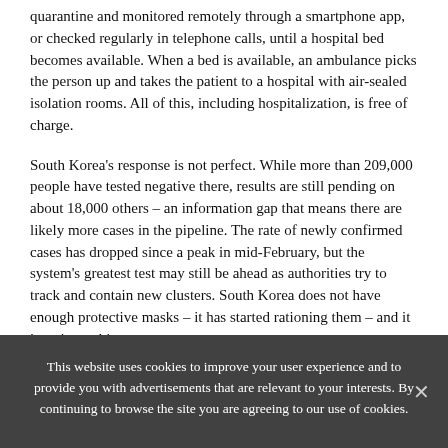quarantine and monitored remotely through a smartphone app, or checked regularly in telephone calls, until a hospital bed becomes available. When a bed is available, an ambulance picks the person up and takes the patient to a hospital with air-sealed isolation rooms. All of this, including hospitalization, is free of charge.
South Korea's response is not perfect. While more than 209,000 people have tested negative there, results are still pending on about 18,000 others – an information gap that means there are likely more cases in the pipeline. The rate of newly confirmed cases has dropped since a peak in mid-February, but the system's greatest test may still be ahead as authorities try to track and contain new clusters. South Korea does not have enough protective masks – it has started rationing them – and it is trying to hire more
This website uses cookies to improve your user experience and to provide you with advertisements that are relevant to your interests. By continuing to browse the site you are agreeing to our use of cookies.